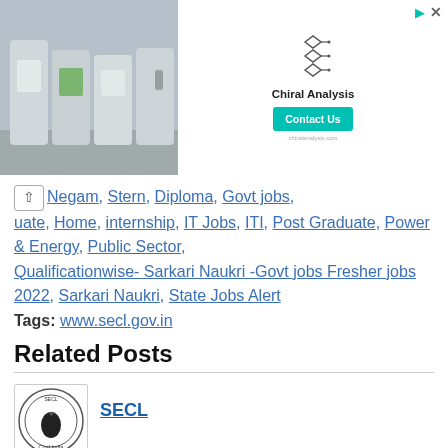[Figure (photo): Advertisement banner with photo of industrial drums/containers on the left and Chiral Analysis company ad with Contact Us button on the right]
Negam, Stern, Diploma, Govt jobs, uate, Home, internship, IT Jobs, ITI, Post Graduate, Power & Energy, Public Sector, Qualificationwise- Sarkari Naukri -Govt jobs Fresher jobs 2022, Sarkari Naukri, State Jobs Alert
Tags: www.secl.gov.in
Related Posts
[Figure (logo): SECL (South Eastern Coalfields Limited) logo - circular emblem with coal India symbol]
SECL